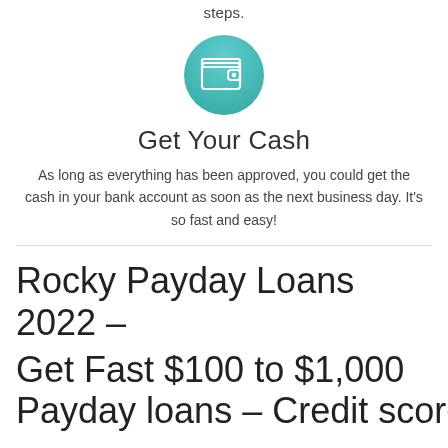steps.
[Figure (illustration): Teal circle icon with a wallet symbol in white]
Get Your Cash
As long as everything has been approved, you could get the cash in your bank account as soon as the next business day. It's so fast and easy!
Rocky Payday Loans 2022 – Get Fast $100 to $1,000